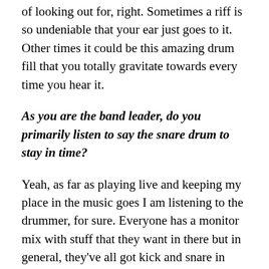of looking out for, right. Sometimes a riff is so undeniable that your ear just goes to it. Other times it could be this amazing drum fill that you totally gravitate towards every time you hear it.
As you are the band leader, do you primarily listen to say the snare drum to stay in time?
Yeah, as far as playing live and keeping my place in the music goes I am listening to the drummer, for sure. Everyone has a monitor mix with stuff that they want in there but in general, they've all got kick and snare in their wedges that are keeping them on point.
Revocation has a substantial discography but